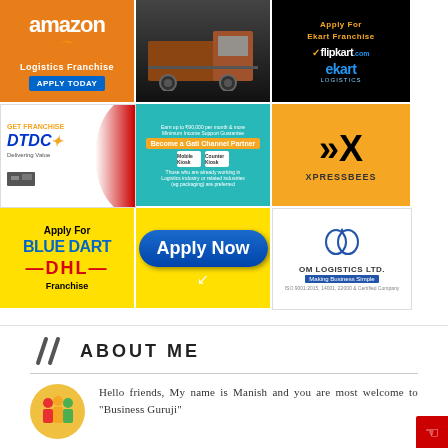[Figure (infographic): 3x3 grid collage of logistics franchise advertisements: Amazon Logistics Franchise, truck image, Ekart/Flipkart franchise, DTDC franchise, Become a Gati Channel Partner, Xpressbees, Apply For Blue Dart / DHL Franchise, Apply Now button, Om Logistics Ltd logo]
ABOUT ME
Hello friends, My name is Manish and you are most welcome to "Business Guruji"